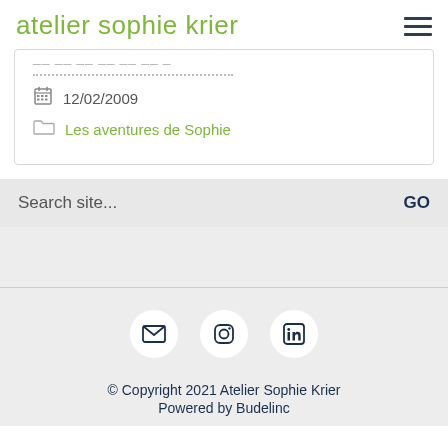atelier sophie krier
12/02/2009
Les aventures de Sophie
Search site...
GO
[Figure (illustration): Three social media icon circles: email envelope, Instagram, LinkedIn]
© Copyright 2021 Atelier Sophie Krier
Powered by Budelinc